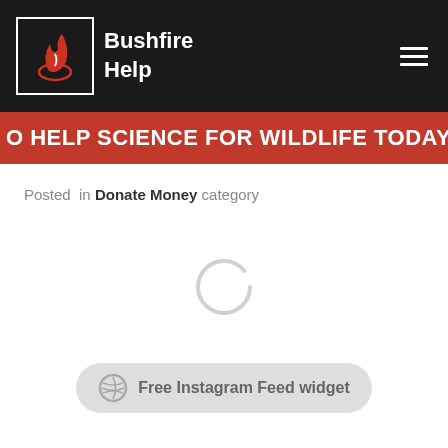Bushfire Help
O HELP SCIENCE FOR WILDLIFE TODAY!   TAP T
Posted in Donate Money category
[Figure (other): Loading spinner (circular arc, light gray)]
Free Instagram Feed widget